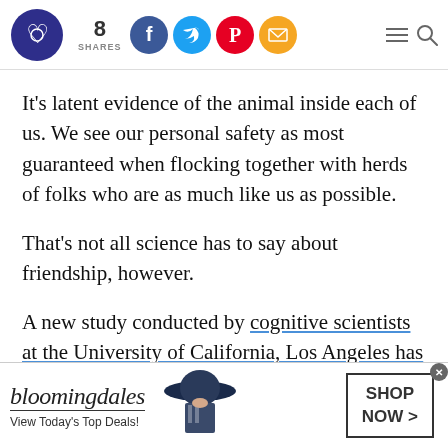8 SHARES — social sharing header with logo, Facebook, Twitter, Pinterest, Email buttons, hamburger menu, search
It's latent evidence of the animal inside each of us. We see our personal safety as most guaranteed when flocking together with herds of folks who are as much like us as possible.
That's not all science has to say about friendship, however.
A new study conducted by cognitive scientists at the University of California, Los Angeles has
[Figure (photo): Bloomingdale's advertisement banner showing a woman in a large navy hat. Text reads: bloomingdales, View Today's Top Deals!, SHOP NOW >]